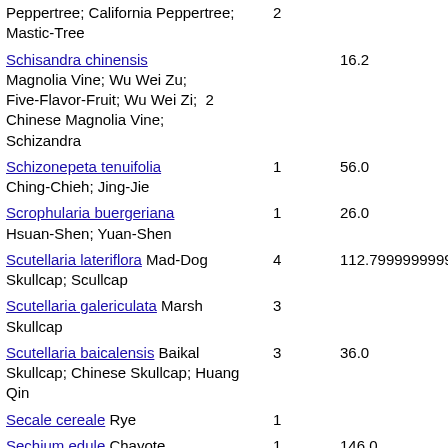| Plant / Common Names | Count | Value |
| --- | --- | --- |
| Peppertree; California Peppertree; Mastic-Tree | 2 |  |
| Schisandra chinensis Magnolia Vine; Wu Wei Zu; Five-Flavor-Fruit; Wu Wei Zi; Chinese Magnolia Vine; Schizandra | 2 | 16.2 |
| Schizonepeta tenuifolia Ching-Chieh; Jing-Jie | 1 | 56.0 |
| Scrophularia buergeriana Hsuan-Shen; Yuan-Shen | 1 | 26.0 |
| Scutellaria lateriflora Mad-Dog Skullcap; Scullcap | 4 | 112.79999999999998 |
| Scutellaria galericulata Marsh Skullcap | 3 |  |
| Scutellaria baicalensis Baikal Skullcap; Chinese Skullcap; Huang Qin | 3 | 36.0 |
| Secale cereale Rye | 1 |  |
| Sechium edule Chayote | 1 | 146.0 |
| Senna occidentalis Coffee Senna | 3 | 82.0 |
| Senna obtusifolia Sicklepod | 3 | 3752.0 |